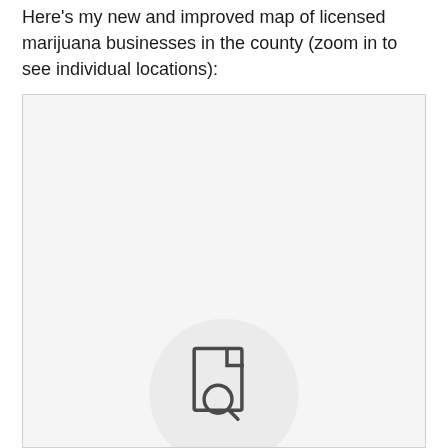Here's my new and improved map of licensed marijuana businesses in the county (zoom in to see individual locations):
[Figure (map): A map placeholder showing a light grey background with a document/search icon at the bottom center, indicating an embedded interactive map of licensed marijuana businesses in the county.]